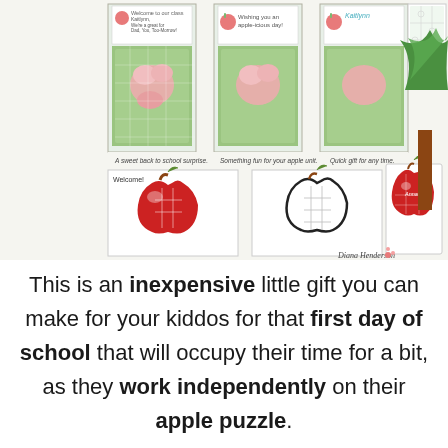[Figure (illustration): Collage of apple-themed jigsaw puzzle images showing gift presentations with text 'A sweet back to school surprise.', 'Something fun for your apple unit.', 'Quick gift for any time.' and puzzle images including colored apple puzzle with 'Welcome!', blank outline apple puzzle, and personalized apple puzzle with name 'Anna'. Signed 'Diana Henderson'.]
This is an inexpensive little gift you can make for your kiddos for that first day of school that will occupy their time for a bit, as they work independently on their apple puzzle.